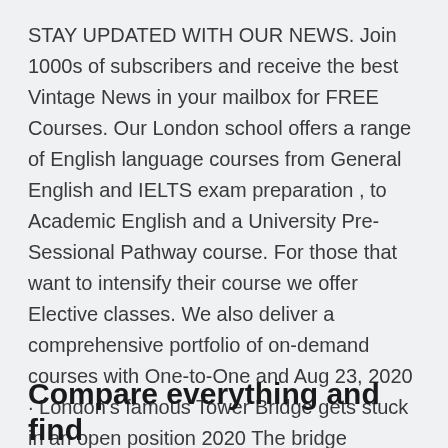STAY UPDATED WITH OUR NEWS. Join 1000s of subscribers and receive the best Vintage News in your mailbox for FREE Courses. Our London school offers a range of English language courses from General English and IELTS exam preparation , to Academic English and a University Pre-Sessional Pathway course. For those that want to intensify their course we offer Elective classes. We also deliver a comprehensive portfolio of on-demand courses with One-to-One and Aug 23, 2020 · London's famous Tower Bridge gets stuck in an open position 2020 The bridge reopened to pedestrians more than an hour later, but remained shut to vehicles for several hours.
Compare everything and find